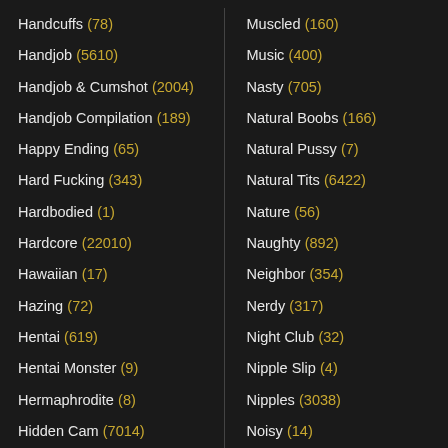Handcuffs (78)
Muscled (160)
Handjob (5610)
Music (400)
Handjob & Cumshot (2004)
Nasty (705)
Handjob Compilation (189)
Natural Boobs (166)
Happy Ending (65)
Natural Pussy (7)
Hard Fucking (343)
Natural Tits (6422)
Hardbodied (1)
Nature (56)
Hardcore (22010)
Naughty (892)
Hawaiian (17)
Neighbor (354)
Hazing (72)
Nerdy (317)
Hentai (619)
Night Club (32)
Hentai Monster (9)
Nipple Slip (4)
Hermaphrodite (8)
Nipples (3038)
Hidden Cam (7014)
Noisy (14)
High Heels (1580)
Norwegian (54)
High School (44)
Nubile (231)